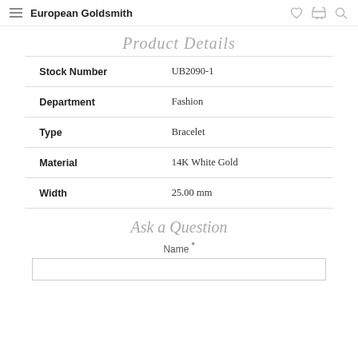European Goldsmith
Product Details
|  |  |
| --- | --- |
| Stock Number | UB2090-1 |
| Department | Fashion |
| Type | Bracelet |
| Material | 14K White Gold |
| Width | 25.00 mm |
Ask a Question
Name *